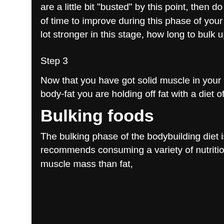are a little bit "busted" by this point, then do not panic, bulking time to eat! You have a long amount of time to improve during this phase of your cycle because in your first phase you will be getting a lot stronger in this stage, how long to bulk up.
Step 3
Now that you have got solid muscle in your lower body, you will begin to increase the amount of body-fat you are holding off fat with a diet of healthy, lean meat and vegetables.
Bulking foods
The bulking phase of the bodybuilding diet is also similar to a weight-gaining diet, which also recommends consuming a variety of nutritious foods to put on weight. In this phase, you lose more muscle mass than fat,